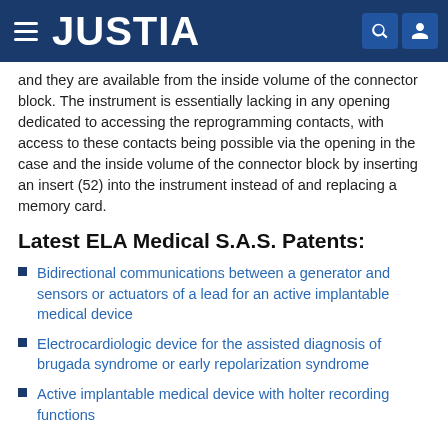JUSTIA
and they are available from the inside volume of the connector block. The instrument is essentially lacking in any opening dedicated to accessing the reprogramming contacts, with access to these contacts being possible via the opening in the case and the inside volume of the connector block by inserting an insert (52) into the instrument instead of and replacing a memory card.
Latest ELA Medical S.A.S. Patents:
Bidirectional communications between a generator and sensors or actuators of a lead for an active implantable medical device
Electrocardiologic device for the assisted diagnosis of brugada syndrome or early repolarization syndrome
Active implantable medical device with holter recording functions